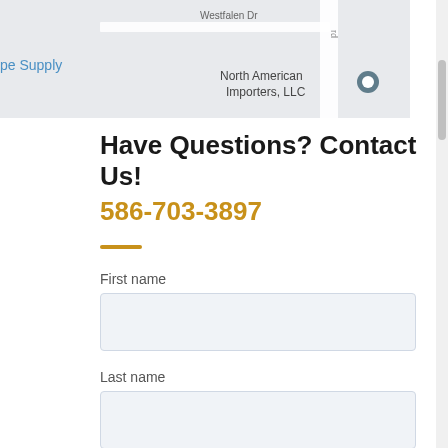[Figure (map): Partial map screenshot showing Westfalen Dr, North American Importers LLC with a location pin, and a partially visible label reading 'pe Supply' in blue.]
Have Questions? Contact Us! 586-703-3897
First name
Last name
Phone number